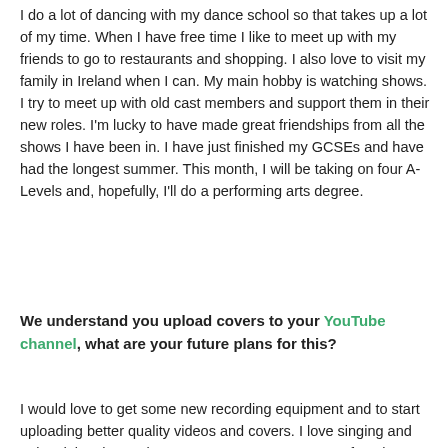I do a lot of dancing with my dance school so that takes up a lot of my time. When I have free time I like to meet up with my friends to go to restaurants and shopping. I also love to visit my family in Ireland when I can. My main hobby is watching shows. I try to meet up with old cast members and support them in their new roles. I'm lucky to have made great friendships from all the shows I have been in. I have just finished my GCSEs and have had the longest summer. This month, I will be taking on four A-Levels and, hopefully, I'll do a performing arts degree.
We understand you upload covers to your YouTube channel, what are your future plans for this?
I would love to get some new recording equipment and to start uploading better quality videos and covers. I love singing and enjoy doing them. I know I am not everyone's cup of tea but fans